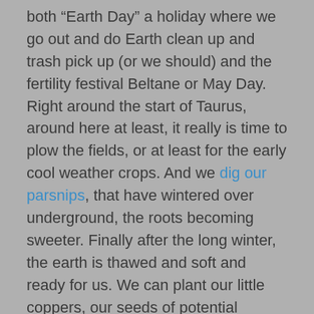both “Earth Day” a holiday where we go out and do Earth clean up and trash pick up (or we should) and the fertility festival Beltane or May Day. Right around the start of Taurus, around here at least, it really is time to plow the fields, or at least for the early cool weather crops. And we dig our parsnips, that have wintered over underground, the roots becoming sweeter. Finally after the long winter, the earth is thawed and soft and ready for us. We can plant our little coppers, our seeds of potential whether literal or figurative, and anticipate the golden harvest to come, when our bounty can be shared.